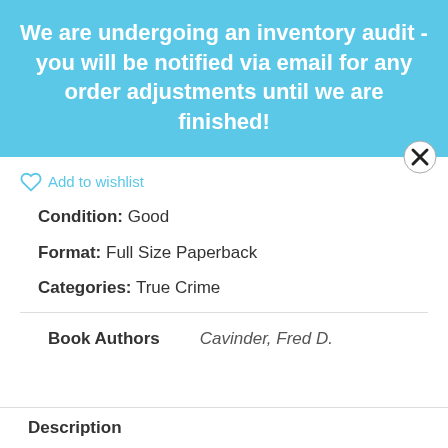We are undergoing an inventory audit - you will be notified via email for any order adjustments until we are finished!
Add to wishlist
Condition: Good
Format: Full Size Paperback
Categories: True Crime
Book Authors   Cavinder, Fred D.
Description